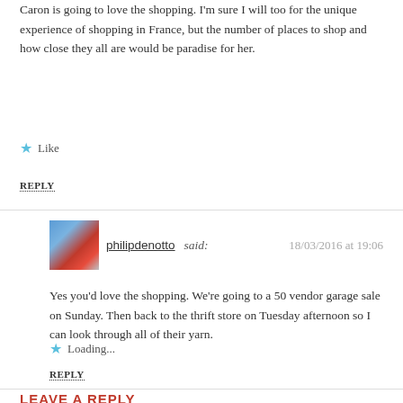Caron is going to love the shopping. I'm sure I will too for the unique experience of shopping in France, but the number of places to shop and how close they all are would be paradise for her.
★ Like
REPLY
philipdenotto said: 18/03/2016 at 19:06
Yes you'd love the shopping. We're going to a 50 vendor garage sale on Sunday. Then back to the thrift store on Tuesday afternoon so I can look through all of their yarn.
★ Loading...
REPLY
LEAVE A REPLY